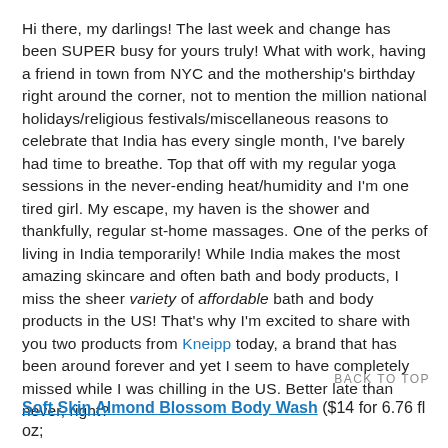Hi there, my darlings! The last week and change has been SUPER busy for yours truly! What with work, having a friend in town from NYC and the mothership's birthday right around the corner, not to mention the million national holidays/religious festivals/miscellaneous reasons to celebrate that India has every single month, I've barely had time to breathe. Top that off with my regular yoga sessions in the never-ending heat/humidity and I'm one tired girl. My escape, my haven is the shower and thankfully, regular st-home massages. One of the perks of living in India temporarily! While India makes the most amazing skincare and often bath and body products, I miss the sheer variety of affordable bath and body products in the US! That's why I'm excited to share with you two products from Kneipp today, a brand that has been around forever and yet I seem to have completely missed while I was chilling in the US. Better late than never, right?
BACK TO TOP
Soft Skin Almond Blossom Body Wash ($14 for 6.76 fl oz;